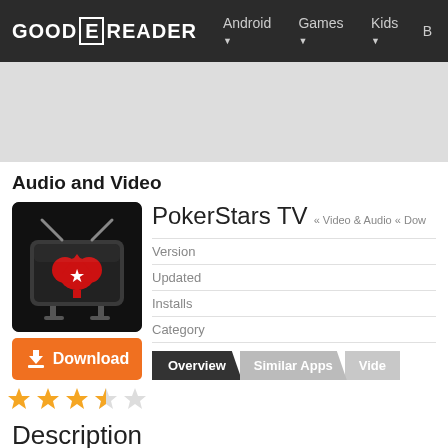GOOD E READER  Android  Games  Kids  B
[Figure (other): Gray advertisement banner area]
Audio and Video
[Figure (other): PokerStars TV app icon: black background with a TV set graphic containing a red spade with a white star]
Download
[Figure (other): Star rating: 3.5 out of 5 stars (3 full stars, 1 half star, 1 empty star)]
PokerStars TV
« Video & Audio « Dow
| Version |  |
| Updated |  |
| Installs |  |
| Category |  |
Overview    Similar Apps    Vide
Description
The PokerStars TV App brings you all the lates